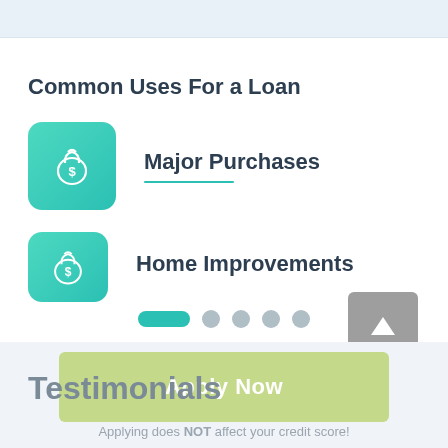Common Uses For a Loan
Major Purchases
Home Improvements
[Figure (infographic): Carousel navigation dots: one elongated teal active dot and four grey inactive dots, with a grey square up-arrow button on the right]
Apply Now
Testimonials
Applying does NOT affect your credit score! No credit check to apply.